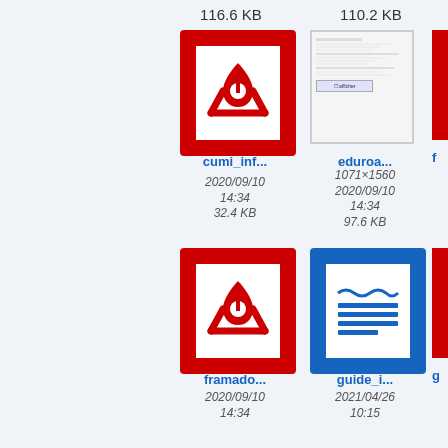116.6 KB
110.2 KB
[Figure (screenshot): PDF file icon (red border with Adobe PDF logo)]
cumi_inf...
[Figure (screenshot): Screenshot of a form/dialog box]
eduroa...
1071×1560
2020/09/10
14:34
32.4 KB
2020/09/10
14:34
97.6 KB
[Figure (screenshot): PDF file icon (red border with Adobe PDF logo)]
framado...
[Figure (screenshot): Document icon with blue border and horizontal lines]
guide_i...
2020/09/10
14:34
2021/04/26
10:15